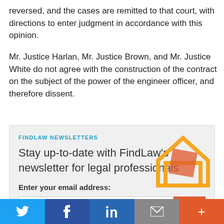reversed, and the cases are remitted to that court, with directions to enter judgment in accordance with this opinion.
Mr. Justice Harlan, Mr. Justice Brown, and Mr. Justice White do not agree with the construction of the contract on the subject of the power of the engineer officer, and therefore dissent.
FINDLAW NEWSLETTERS
Stay up-to-date with FindLaw's newsletter for legal professionals
Enter your email address:
[Figure (screenshot): Email input field with orange submit arrow button and decorative house/envelope graphic]
Twitter | Facebook | LinkedIn | Email | Plus — social sharing bar